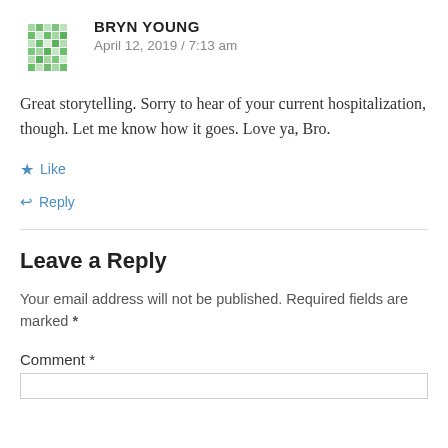[Figure (illustration): Green pixel/mosaic avatar for user Bryn Young]
BRYN YOUNG
April 12, 2019 / 7:13 am
Great storytelling. Sorry to hear of your current hospitalization, though. Let me know how it goes. Love ya, Bro.
★ Like
↩ Reply
Leave a Reply
Your email address will not be published. Required fields are marked *
Comment *